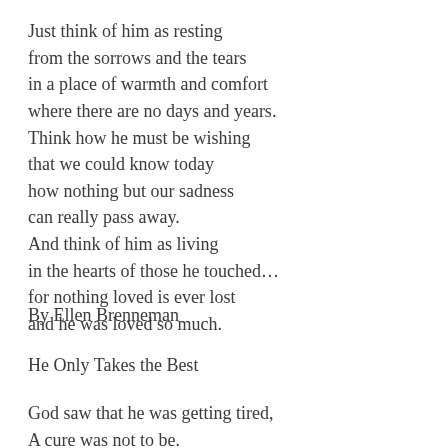Just think of him as resting
from the sorrows and the tears
in a place of warmth and comfort
where there are no days and years.
Think how he must be wishing
that we could know today
how nothing but our sadness
can really pass away.
And think of him as living
in the hearts of those he touched…
for nothing loved is ever lost
and he was loved so much.
By Ellen Brenneman
He Only Takes the Best
God saw that he was getting tired,
A cure was not to be.